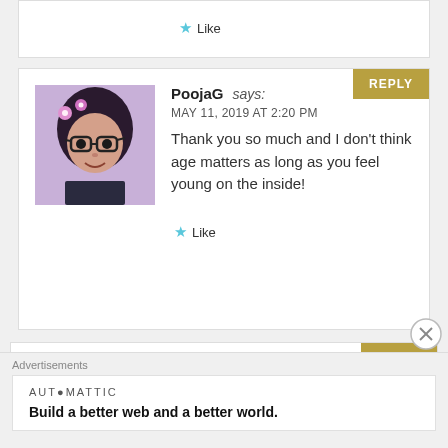Like
PoojaG says:
MAY 11, 2019 AT 2:20 PM
Thank you so much and I don't think age matters as long as you feel young on the inside!
Like
dourdan says:
MAY 16, 2019 AT 4:59 AM
Happy belated birthday.
Advertisements
AUTOMATTIC
Build a better web and a better world.